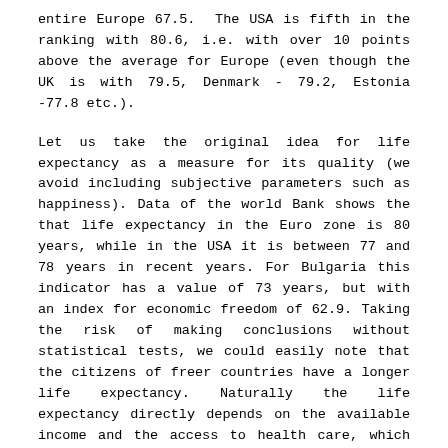entire Europe 67.5.  The USA is fifth in the ranking with 80.6, i.e. with over 10 points above the average for Europe (even though the UK is with 79.5, Denmark - 79.2, Estonia -77.8 etc.).
Let us take the original idea for life expectancy as a measure for its quality (we avoid including subjective parameters such as happiness). Data of the world Bank shows the that life expectancy in the Euro zone is 80 years, while in the USA it is between 77 and 78 years in recent years. For Bulgaria this indicator has a value of 73 years, but with an index for economic freedom of 62.9. Taking the risk of making conclusions without statistical tests, we could easily note that the citizens of freer countries have a longer life expectancy. Naturally the life expectancy directly depends on the available income and the access to health care, which however are easily available when there is greater economic freedom, which allows for greater public wealth.
Within this framework, it is interesting to add, that according